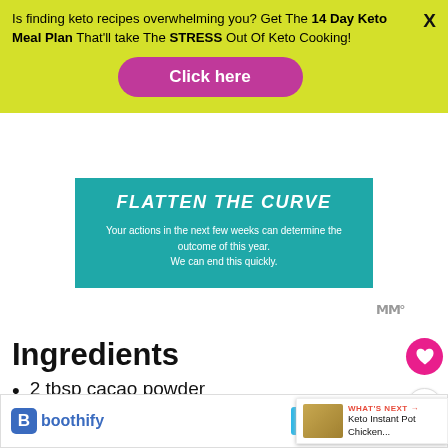Is finding keto recipes overwhelming you? Get The 14 Day Keto Meal Plan That'll take The STRESS Out Of Keto Cooking!
[Figure (other): Yellow banner ad with pink 'Click here' button and X close button]
[Figure (other): Teal advertisement banner with text: FLATTEN THE CURVE. Your actions in the next few weeks can determine the outcome of this year. We can end this quickly.]
Ingredients
2 tbsp cacao powder
2 tbsp granulated Swe
1 cup unsweetened coconut
[Figure (other): Bottom banner ad: boothify with SHOP NOW button]
WHAT'S NEXT → Keto Instant Pot Chicken...